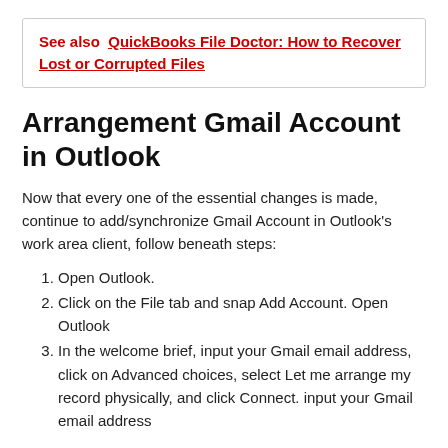See also  QuickBooks File Doctor: How to Recover Lost or Corrupted Files
Arrangement Gmail Account in Outlook
Now that every one of the essential changes is made, continue to add/synchronize Gmail Account in Outlook's work area client, follow beneath steps:
Open Outlook.
Click on the File tab and snap Add Account. Open Outlook
In the welcome brief, input your Gmail email address, click on Advanced choices, select Let me arrange my record physically, and click Connect. input your Gmail email address